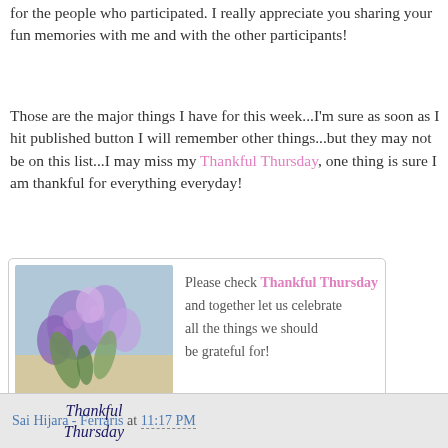for the people who participated. I really appreciate you sharing your fun memories with me and with the other participants!
Those are the major things I have for this week...I'm sure as soon as I hit published button I will remember other things...but they may not be on this list...I may miss my Thankful Thursday, one thing is sure I am thankful for everything everyday!
[Figure (illustration): A decorative card image showing purple flowers (roses/lisianthus) at the top with a light blue/grey background, and cursive text reading 'Thankful Thursday' at the bottom in dark blue.]
Please check Thankful Thursday and together let us celebrate all the things we should be grateful for!
Sai Hijara - Ferraris at 11:17 PM